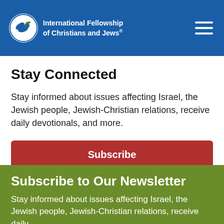International Fellowship of Christians and Jews®
Stay Connected
Stay informed about issues affecting Israel, the Jewish people, Jewish-Christian relations, receive daily devotionals, and more.
Subscribe
Subscribe to Our Newsletter
Stay informed about issues affecting Israel, the Jewish people, Jewish-Christian relations, receive daily